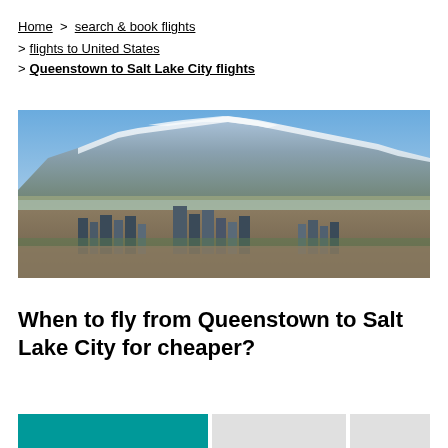Home > search & book flights
> flights to United States
> Queenstown to Salt Lake City flights
[Figure (photo): Panoramic view of Salt Lake City with snow-capped mountains in the background and city skyline in the foreground]
When to fly from Queenstown to Salt Lake City for cheaper?